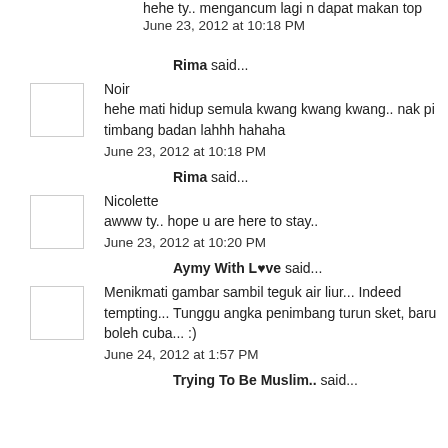hehe ty.. mengancum lagi n dapat makan top
June 23, 2012 at 10:18 PM
Rima said...
Noir
hehe mati hidup semula kwang kwang kwang.. nak pi timbang badan lahhh hahaha
June 23, 2012 at 10:18 PM
Rima said...
Nicolette
awww ty.. hope u are here to stay..
June 23, 2012 at 10:20 PM
Aymy With L♥ve said...
Menikmati gambar sambil teguk air liur... Indeed tempting... Tunggu angka penimbang turun sket, baru boleh cuba... :)
June 24, 2012 at 1:57 PM
Trying To Be Muslim.. said...